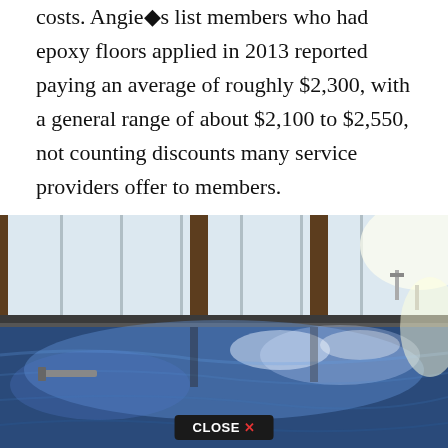costs. Angie's list members who had epoxy floors applied in 2013 reported paying an average of roughly $2,300, with a general range of about $2,100 to $2,550, not counting discounts many service providers offer to members.
[Figure (photo): Photo of a shiny blue epoxy-coated garage or commercial floor with reflective surface, metal door frames and walls visible in background. A 'CLOSE X' button overlay appears at the bottom center.]